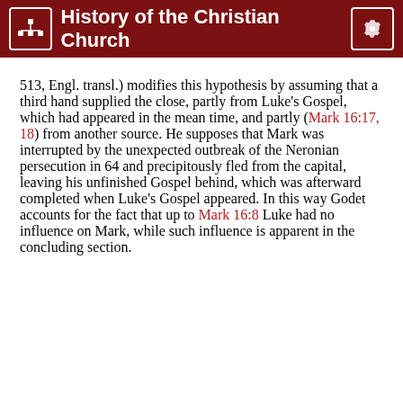History of the Christian Church
513, Engl. transl.) modifies this hypothesis by assuming that a third hand supplied the close, partly from Luke's Gospel, which had appeared in the mean time, and partly (Mark 16:17, 18) from another source. He supposes that Mark was interrupted by the unexpected outbreak of the Neronian persecution in 64 and precipitously fled from the capital, leaving his unfinished Gospel behind, which was afterward completed when Luke's Gospel appeared. In this way Godet accounts for the fact that up to Mark 16:8 Luke had no influence on Mark, while such influence is apparent in the concluding section.